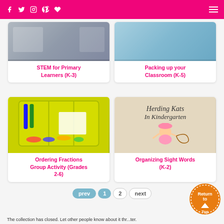Social media icons and navigation menu
[Figure (screenshot): Card: STEM for Primary Learners (K-3) with thumbnail image]
STEM for Primary Learners (K-3)
[Figure (screenshot): Card: Packing up your Classroom (K-5) with thumbnail image]
Packing up your Classroom (K-5)
[Figure (photo): Yellow plastic organizer bin with markers, paper clips, and school supplies]
Ordering Fractions Group Activity (Grades 2-6)
[Figure (illustration): Herding Kats In Kindergarten logo with cartoon cowgirl character in pink hat]
Organizing Sight Words (K-2)
prev  1  2  next
The collection has closed. Let other people know about it thr...ter.